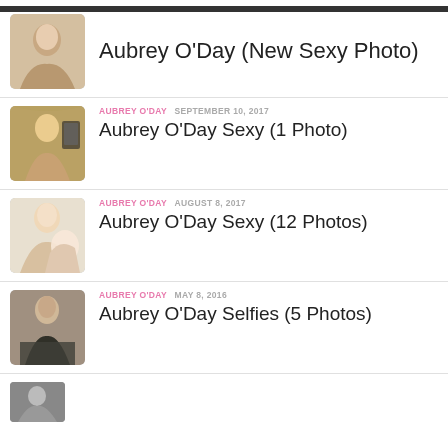Aubrey O'Day (New Sexy Photo)
AUBREY O'DAY  SEPTEMBER 10, 2017
Aubrey O'Day Sexy (1 Photo)
AUBREY O'DAY  AUGUST 8, 2017
Aubrey O'Day Sexy (12 Photos)
AUBREY O'DAY  MAY 8, 2016
Aubrey O'Day Selfies (5 Photos)
(partial entry)